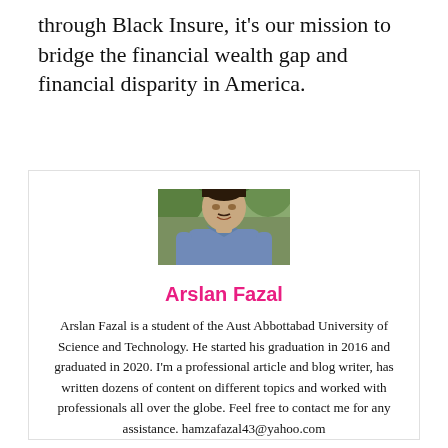through Black Insure, it's our mission to bridge the financial wealth gap and financial disparity in America.
[Figure (photo): Portrait photo of Arslan Fazal, a young man in a blue collared shirt standing outdoors with greenery in the background.]
Arslan Fazal
Arslan Fazal is a student of the Aust Abbottabad University of Science and Technology. He started his graduation in 2016 and graduated in 2020. I'm a professional article and blog writer, has written dozens of content on different topics and worked with professionals all over the globe. Feel free to contact me for any assistance. hamzafazal43@yahoo.com